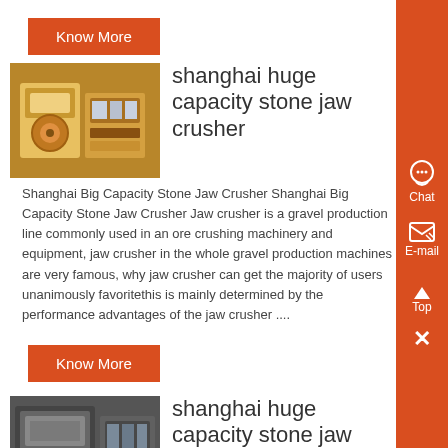Know More
[Figure (photo): Industrial stone jaw crusher machine, yellow/orange colored machinery]
shanghai huge capacity stone jaw crusher
Shanghai Big Capacity Stone Jaw Crusher Shanghai Big Capacity Stone Jaw Crusher Jaw crusher is a gravel production line commonly used in an ore crushing machinery and equipment, jaw crusher in the whole gravel production machines are very famous, why jaw crusher can get the majority of users unanimously favoritethis is mainly determined by the performance advantages of the jaw crusher ....
Know More
[Figure (photo): Industrial stone jaw crusher machine, dark grey machinery]
shanghai huge capacity stone jaw crusher
Shanghai Big Capacity Stone Jaw Crusher Shanghai Big Capacity Stone Jaw Crusher Jaw crusher is a gravel production line commonly used in an ore crushing machinery and equipment, jaw crusher in the whole gravel production machines are very famous, why jaw crusher can get the majority of users unanimously favoritethis is mainly